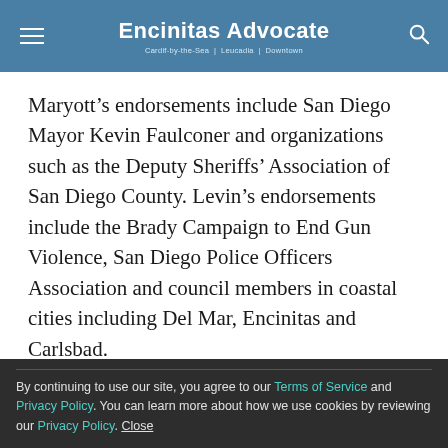Encinitas Advocate
Maryott’s endorsements include San Diego Mayor Kevin Faulconer and organizations such as the Deputy Sheriffs’ Association of San Diego County. Levin’s endorsements include the Brady Campaign to End Gun Violence, San Diego Police Officers Association and council members in coastal cities including Del Mar, Encinitas and Carlsbad.
—David Hernandez is a reporter for The San Diego Union-Tribune
By continuing to use our site, you agree to our Terms of Service and Privacy Policy. You can learn more about how we use cookies by reviewing our Privacy Policy. Close